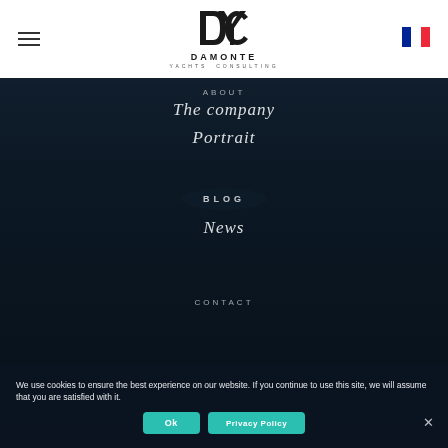[Figure (logo): Damonte Yachts Consulting logo with stylized DYC monogram and text]
[Figure (illustration): French flag icon in top right corner]
ABOUT
The company
Portrait
BLOG
News
CONTACT
We use cookies to ensure the best experience on our website. If you continue to use this site, we will assume that you are satisfied with it.
Ok
Privacy Policy